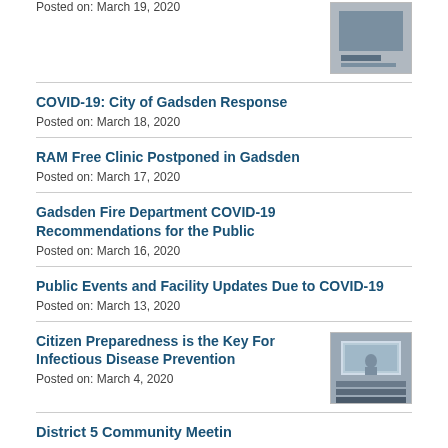Posted on: March 19, 2020
COVID-19: City of Gadsden Response
Posted on: March 18, 2020
RAM Free Clinic Postponed in Gadsden
Posted on: March 17, 2020
Gadsden Fire Department COVID-19 Recommendations for the Public
Posted on: March 16, 2020
Public Events and Facility Updates Due to COVID-19
Posted on: March 13, 2020
Citizen Preparedness is the Key For Infectious Disease Prevention
[Figure (photo): Thumbnail photo of people at a meeting/presentation]
Posted on: March 4, 2020
District 5 Community Meeting...